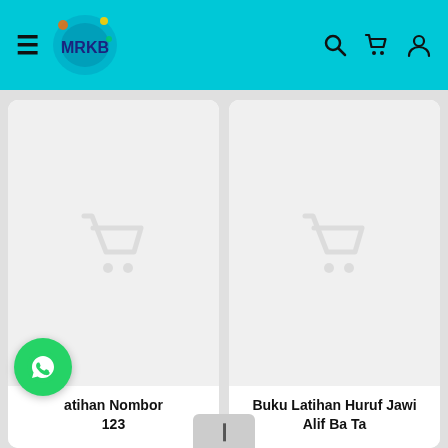MRKB navigation bar with hamburger menu, logo, search, cart, and user icons
[Figure (screenshot): Product card with shopping cart placeholder image - Buku Latihan Nombor 123]
atihan Nombor 123
[Figure (screenshot): Product card with shopping cart placeholder image - Buku Latihan Huruf Jawi Alif Ba Ta]
Buku Latihan Huruf Jawi Alif Ba Ta